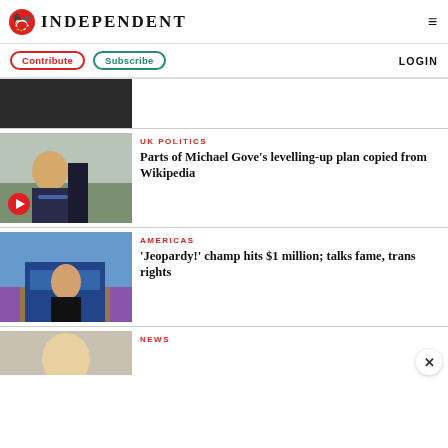INDEPENDENT
Contribute  Subscribe  LOGIN
[Figure (photo): Partial image, dark background, top of page]
UK POLITICS
Parts of Michael Gove's levelling-up plan copied from Wikipedia
[Figure (photo): Michael Gove walking outdoors holding blue folder, with play button overlay]
AMERICAS
'Jeopardy!' champ hits $1 million; talks fame, trans rights
[Figure (photo): Jeopardy game show set with contestant at podium]
NEWS
[Figure (photo): Partial bottom image, person visible]